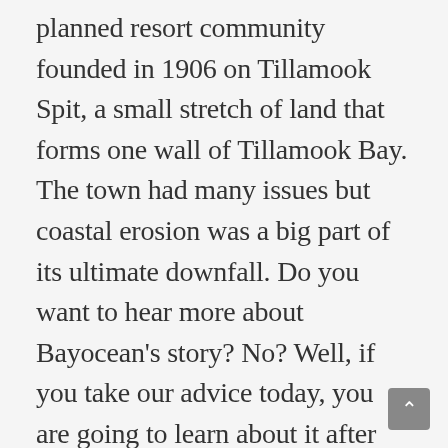planned resort community founded in 1906 on Tillamook Spit, a small stretch of land that forms one wall of Tillamook Bay. The town had many issues but coastal erosion was a big part of its ultimate downfall. Do you want to hear more about Bayocean's story? No? Well, if you take our advice today, you are going to learn about it after listening to Rectangle Creep's great new album Bayocean. The trio tell the story of the lost city over the record's 22 tracks with a catchy mix of short form indie rock that keeps most tracks run times under 2 minutes. I know the description of this record